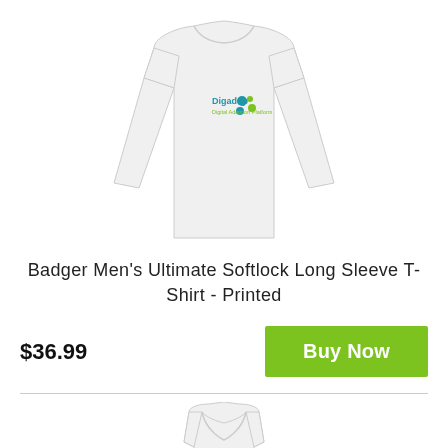[Figure (photo): White long sleeve t-shirt with Digadop Digital Adoption Platform logo printed on the chest]
Badger Men's Ultimate Softlock Long Sleeve T-Shirt - Printed
$36.99
[Figure (photo): White women's racerback tank top, partially visible at bottom of page]